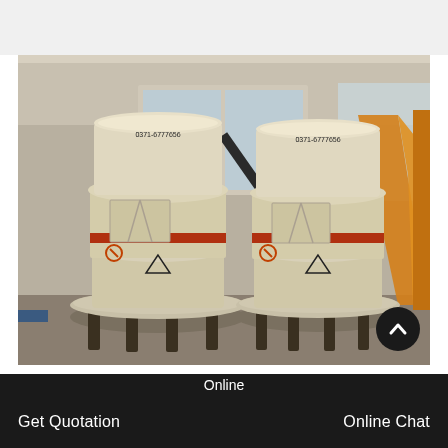[Figure (photo): Two large industrial grinding mill machines (cylindrical, cream/beige colored with red stripe bands) standing on metal frames inside a factory warehouse. Large windows in background, orange crane structure visible on right side.]
Southeast Asia high end large
Online
Get Quotation
Online Chat